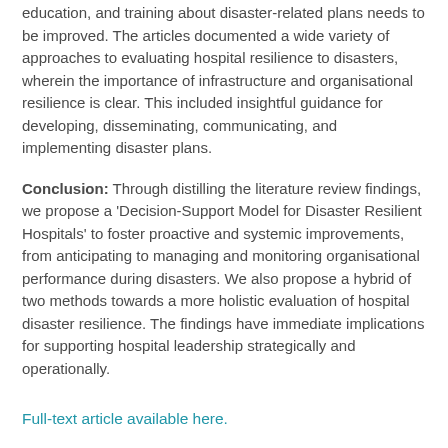education, and training about disaster-related plans needs to be improved. The articles documented a wide variety of approaches to evaluating hospital resilience to disasters, wherein the importance of infrastructure and organisational resilience is clear. This included insightful guidance for developing, disseminating, communicating, and implementing disaster plans.
Conclusion: Through distilling the literature review findings, we propose a 'Decision-Support Model for Disaster Resilient Hospitals' to foster proactive and systemic improvements, from anticipating to managing and monitoring organisational performance during disasters. We also propose a hybrid of two methods towards a more holistic evaluation of hospital disaster resilience. The findings have immediate implications for supporting hospital leadership strategically and operationally.
Full-text article available here.
REFERENCE